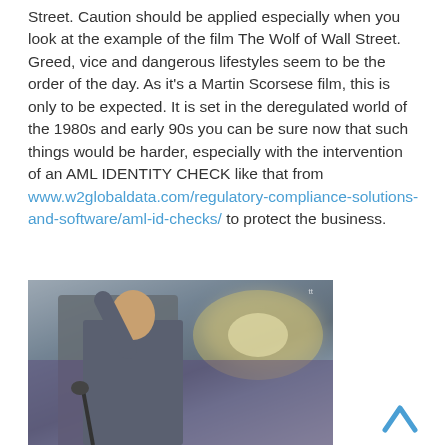Street. Caution should be applied especially when you look at the example of the film The Wolf of Wall Street. Greed, vice and dangerous lifestyles seem to be the order of the day. As it's a Martin Scorsese film, this is only to be expected. It is set in the deregulated world of the 1980s and early 90s you can be sure now that such things would be harder, especially with the intervention of an AML IDENTITY CHECK like that from www.w2globaldata.com/regulatory-compliance-solutions-and-software/aml-id-checks/ to protect the business.
[Figure (photo): A man in a suit pointing upward, surrounded by a crowd in the background, likely a scene from The Wolf of Wall Street film.]